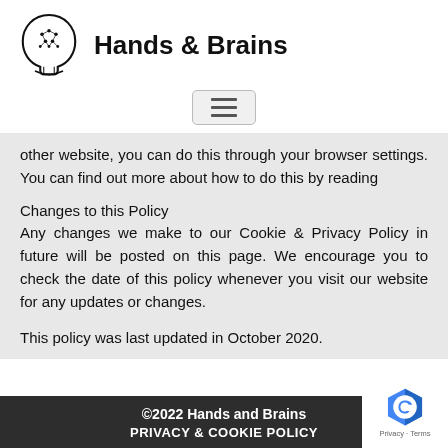[Figure (logo): Hands & Brains logo: stylized human head profile with circuit board brain, hand underneath, black and white illustration]
Hands & Brains
[Figure (other): Hamburger menu button with three horizontal lines]
other website, you can do this through your browser settings. You can find out more about how to do this by reading
Changes to this Policy
Any changes we make to our Cookie & Privacy Policy in future will be posted on this page. We encourage you to check the date of this policy whenever you visit our website for any updates or changes.
This policy was last updated in October 2020.
©2022 Hands and Brains
PRIVACY & COOKIE POLICY